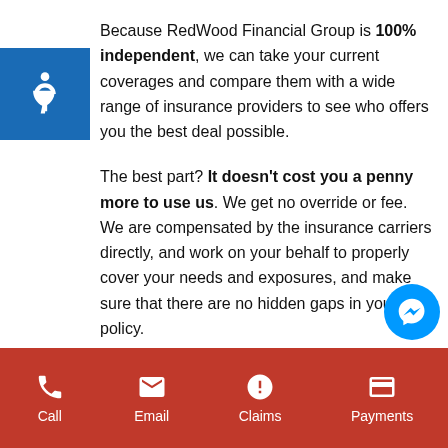Because RedWood Financial Group is 100% independent, we can take your current coverages and compare them with a wide range of insurance providers to see who offers you the best deal possible.
The best part? It doesn't cost you a penny more to use us. We get no override or fee. We are compensated by the insurance carriers directly, and work on your behalf to properly cover your needs and exposures, and make sure that there are no hidden gaps in your policy.
No two insurance contracts are the same, and while two policies side-by-side might look the
Call  Email  Claims  Payments